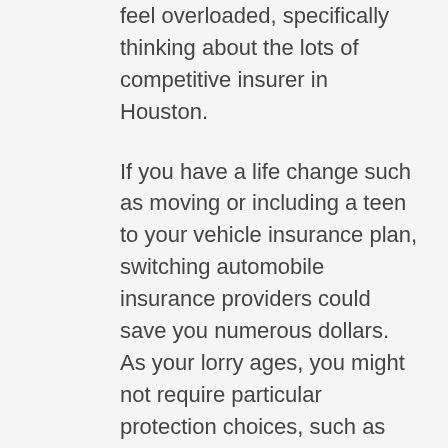feel overloaded, specifically thinking about the lots of competitive insurer in Houston.
If you have a life change such as moving or including a teen to your vehicle insurance plan, switching automobile insurance providers could save you numerous dollars. As your lorry ages, you might not require particular protection choices, such as gap insurance. You might want to reassess your car insurance protection every couple of years.
To find the very best cars and truck insurance coverage company for you, you may find it valuable to get